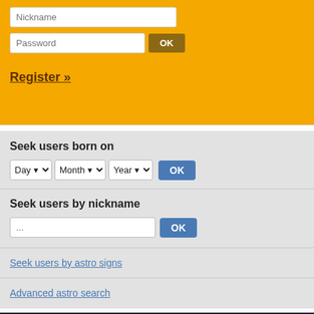Nickname (input field)
Password (input field) OK
Register »
Seek users born on
Day ▼  Month ▼  Year ▼  OK
Seek users by nickname
... OK
Seek users by astro signs
Advanced astro search
FAQ | Terms & Conditions | Personal Data Security | Report Abuse | Update cookie consent
Contact | Links | Facebook |